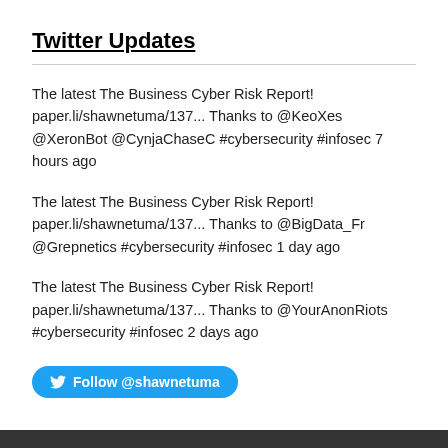Twitter Updates
The latest The Business Cyber Risk Report! paper.li/shawnetuma/137... Thanks to @KeoXes @XeronBot @CynjaChaseC #cybersecurity #infosec 7 hours ago
The latest The Business Cyber Risk Report! paper.li/shawnetuma/137... Thanks to @BigData_Fr @Grepnetics #cybersecurity #infosec 1 day ago
The latest The Business Cyber Risk Report! paper.li/shawnetuma/137... Thanks to @YourAnonRiots #cybersecurity #infosec 2 days ago
Follow @shawnetuma